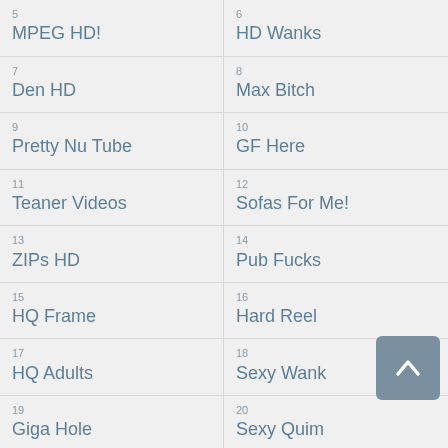5
MPEG HD!
6
HD Wanks
7
Den HD
8
Max Bitch
9
Pretty Nu Tube
10
GF Here
11
Teaner Videos
12
Sofas For Me!
13
ZIPs HD
14
Pub Fucks
15
HQ Frame
16
Hard Reel
17
HQ Adults
18
Sexy Wank
19
Giga Hole
20
Sexy Quim
21
Fire Gat
22
Fuck Case